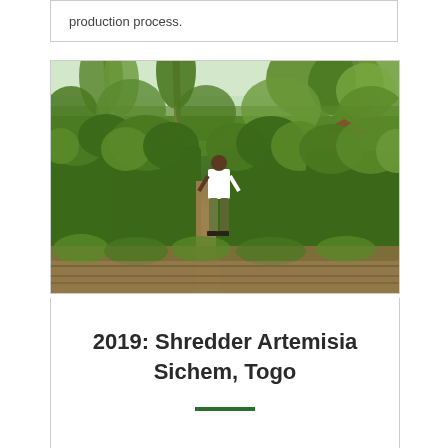production process.
[Figure (photo): A man standing in a field of tall Artemisia plants, with trees in the background and a small building visible. The plants are lush and green, reaching approximately chest height. The ground shows rows of planted crops.]
2019: Shredder Artemisia Sichem, Togo